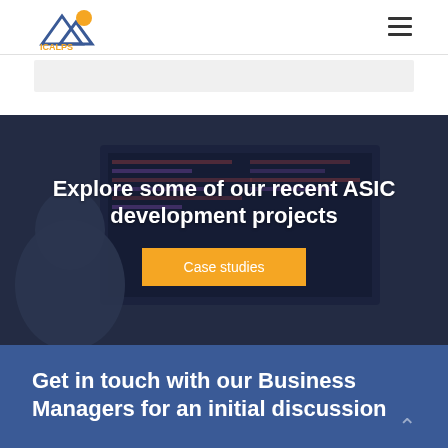ICALPS
[Figure (photo): Person sitting in front of a monitor showing colorful code, viewed from behind, dark overlay applied]
Explore some of our recent ASIC development projects
Case studies
Get in touch with our Business Managers for an initial discussion